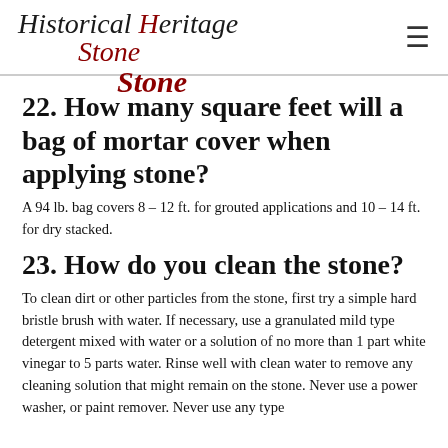Historical Heritage Stone
22. How many square feet will a bag of mortar cover when applying stone?
A 94 lb. bag covers 8 – 12 ft. for grouted applications and 10 – 14 ft. for dry stacked.
23. How do you clean the stone?
To clean dirt or other particles from the stone, first try a simple hard bristle brush with water. If necessary, use a granulated mild type detergent mixed with water or a solution of no more than 1 part white vinegar to 5 parts water. Rinse well with clean water to remove any cleaning solution that might remain on the stone. Never use a power washer, or paint remover. Never use any type